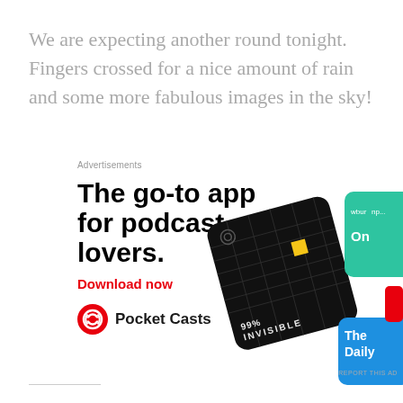We are expecting another round tonight. Fingers crossed for a nice amount of rain and some more fabulous images in the sky!
Advertisements
[Figure (illustration): Pocket Casts advertisement. Bold black headline 'The go-to app for podcast lovers.' with red 'Download now' call to action and Pocket Casts logo. Right side shows app screenshots including 99% Invisible and The Daily podcast cards.]